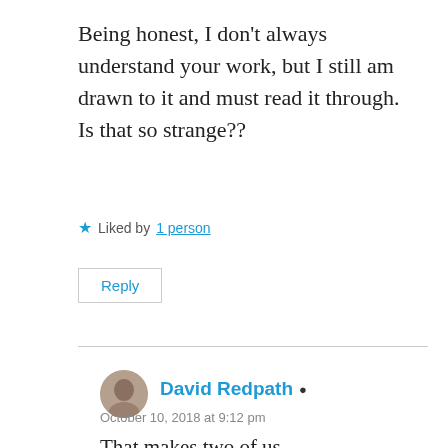Being honest, I don't always understand your work, but I still am drawn to it and must read it through. Is that so strange??
Liked by 1 person
Reply
David Redpath
October 10, 2018 at 9:12 pm
That makes two of us.
But then solid truth can be stranger than flash fiction.